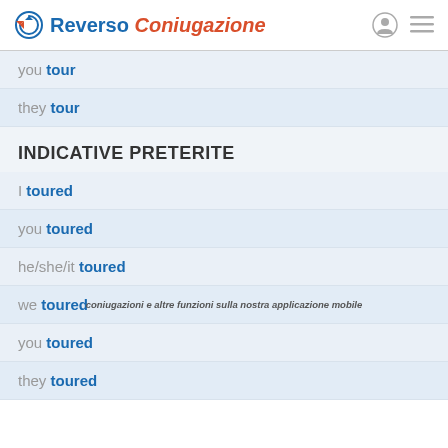Reverso Coniugazione
you tour
they tour
INDICATIVE PRETERITE
I toured
you toured
he/she/it toured
we toured
you toured
they toured